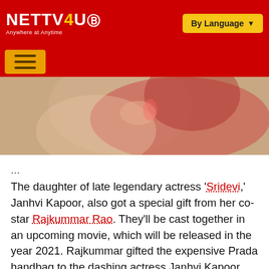NETTV4U - Anywhere at Anytime | By Language
[Figure (photo): Partial photo of a woman in a red outfit, cropped showing upper body and face details]
...
The daughter of late legendary actress 'Sridevi,' Janhvi Kapoor, also got a special gift from her co-star Rajkummar Rao. They'll be cast together in an upcoming movie, which will be released in the year 2021. Rajkummar gifted the expensive Prada handbag to the dashing actress Janhvi Kapoor which is approximately around 1 lakh.